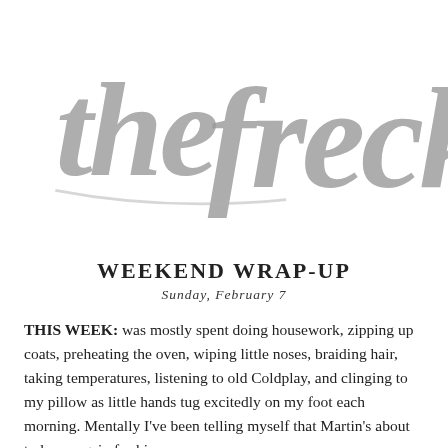[Figure (logo): Handwritten script logo reading 'the freckle' in gray brush lettering, partially cropped on the right]
WEEKEND WRAP-UP
Sunday, February 7
THIS WEEK: was mostly spent doing housework, zipping up coats, preheating the oven, wiping little noses, braiding hair, taking temperatures, listening to old Coldplay, and clinging to my pillow as little hands tug excitedly on my foot each morning. Mentally I've been telling myself that Martin's about to leave again for his